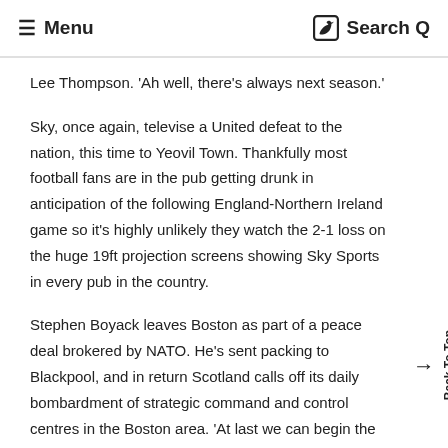≡ Menu   Search Q
Lee Thompson. 'Ah well, there's always next season.'
Sky, once again, televise a United defeat to the nation, this time to Yeovil Town. Thankfully most football fans are in the pub getting drunk in anticipation of the following England-Northern Ireland game so it's highly unlikely they watch the 2-1 loss on the huge 19ft projection screens showing Sky Sports in every pub in the country.
Stephen Boyack leaves Boston as part of a peace deal brokered by NATO. He's sent packing to Blackpool, and in return Scotland calls off its daily bombardment of strategic command and control centres in the Boston area. 'At last we can begin the long process of rebuilding the Axe and Cleaver,' says relieved MP Mark Simmonds from his nuclear bunker beneath the library.